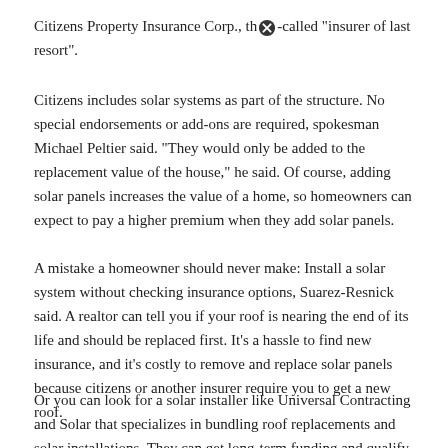Citizens Property Insurance Corp., the ✕-called "insurer of last resort".
Citizens includes solar systems as part of the structure. No special endorsements or add-ons are required, spokesman Michael Peltier said. "They would only be added to the replacement value of the house," he said. Of course, adding solar panels increases the value of a home, so homeowners can expect to pay a higher premium when they add solar panels.
A mistake a homeowner should never make: Install a solar system without checking insurance options, Suarez-Resnick said. A realtor can tell you if your roof is nearing the end of its life and should be replaced first. It's a hassle to find new insurance, and it's costly to remove and replace solar panels because citizens or another insurer require you to get a new roof.
Or you can look for a solar installer like Universal Contracting and Solar that specializes in bundling roof replacements and solar installations. They can get long-term funding and qualify for the 30 percent federal tax credit to help offset the cost of the combined jo✕, says Jenifer Kempka, the